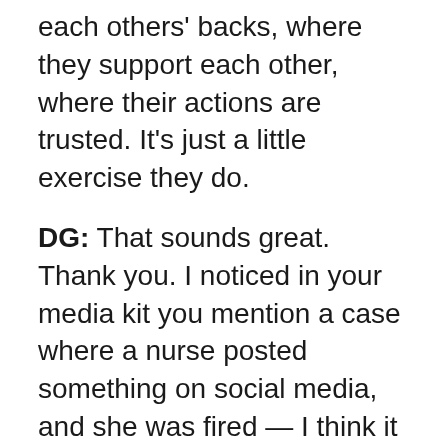each others' backs, where they support each other, where their actions are trusted. It's just a little exercise they do.
DG: That sounds great. Thank you. I noticed in your media kit you mention a case where a nurse posted something on social media, and she was fired — I think it was a she — was fired because of it. What advice would you give to our listeners so they could avoid something similar happening to them, any kind of guidelines for social media or just in general?
AB: [text continues...]